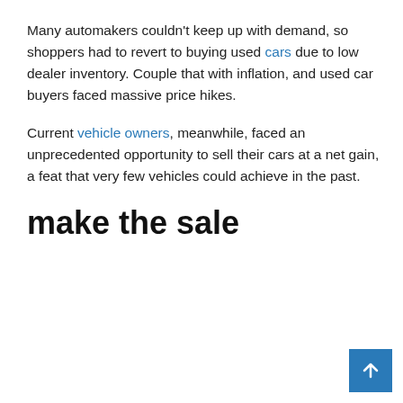Many automakers couldn't keep up with demand, so shoppers had to revert to buying used cars due to low dealer inventory. Couple that with inflation, and used car buyers faced massive price hikes.
Current vehicle owners, meanwhile, faced an unprecedented opportunity to sell their cars at a net gain, a feat that very few vehicles could achieve in the past.
make the sale